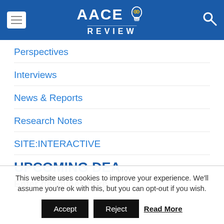AACE REVIEW
Perspectives
Interviews
News & Reports
Research Notes
SITE:INTERACTIVE
UPCOMING DEA...
Enter deadlines here
This website uses cookies to improve your experience. We'll assume you're ok with this, but you can opt-out if you wish.